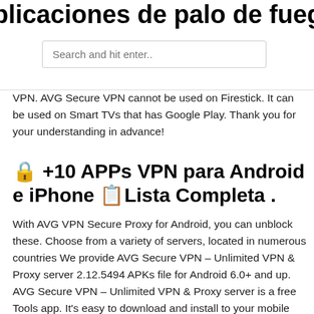plicaciones de palo de fuego no apa
[Figure (screenshot): Search input box with placeholder text 'Search and hit enter..']
VPN. AVG Secure VPN cannot be used on Firestick. It can be used on Smart TVs that has Google Play. Thank you for your understanding in advance!
🔒 +10 APPs VPN para Android e iPhone 📋Lista Completa .
With AVG VPN Secure Proxy for Android, you can unblock these. Choose from a variety of servers, located in numerous countries We provide AVG Secure VPN – Unlimited VPN & Proxy server 2.12.5494 APKs file for Android 6.0+ and up. AVG Secure VPN – Unlimited VPN & Proxy server is a free Tools app. It's easy to download and install to your mobile phone. With AVG VPN Secure Proxy for Android, you can unblock these. Choose from a variety of servers, located in numerous countries and  Some countries prohibit or restrict the use of VPNs. Countries in which our VPN solutions are not currently recommended for use.